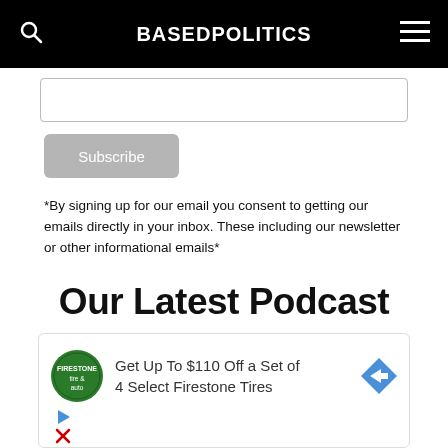BASEDPOLITICS
*By signing up for our email you consent to getting our emails directly in your inbox. These including our newsletter or other informational emails*
Our Latest Podcast
[Figure (other): Advertisement: Get Up To $110 Off a Set of 4 Select Firestone Tires, with Firestone auto logo and navigation arrow icon]